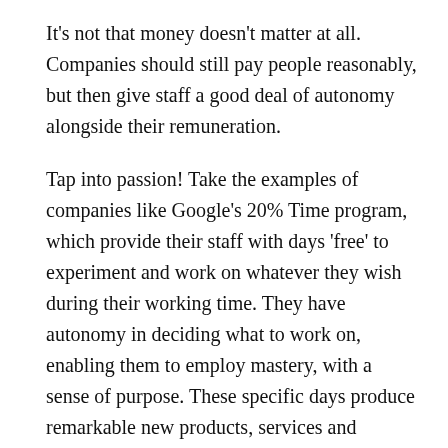It's not that money doesn't matter at all. Companies should still pay people reasonably, but then give staff a good deal of autonomy alongside their remuneration.
Tap into passion! Take the examples of companies like Google's 20% Time program, which provide their staff with days 'free' to experiment and work on whatever they wish during their working time. They have autonomy in deciding what to work on, enabling them to employ mastery, with a sense of purpose. These specific days produce remarkable new products, services and software fixes that would never have existed. About half of all new products developed each year for Google were created during this 20% Time, including Gmail and Google News.